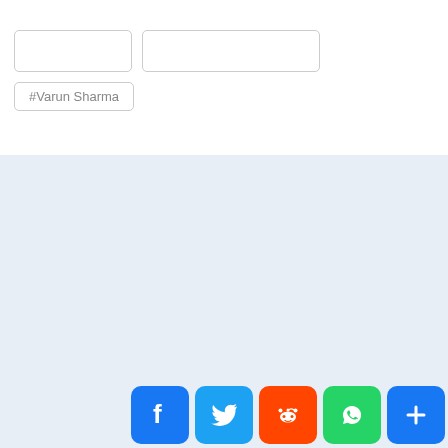#Varun Sharma
[Figure (screenshot): Social sharing buttons: Facebook, Twitter, Reddit, WhatsApp, Share]